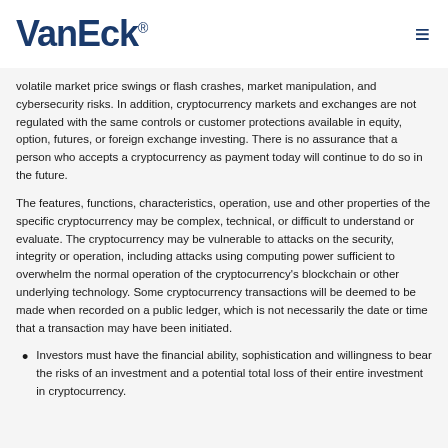VanEck
volatile market price swings or flash crashes, market manipulation, and cybersecurity risks. In addition, cryptocurrency markets and exchanges are not regulated with the same controls or customer protections available in equity, option, futures, or foreign exchange investing. There is no assurance that a person who accepts a cryptocurrency as payment today will continue to do so in the future.
The features, functions, characteristics, operation, use and other properties of the specific cryptocurrency may be complex, technical, or difficult to understand or evaluate. The cryptocurrency may be vulnerable to attacks on the security, integrity or operation, including attacks using computing power sufficient to overwhelm the normal operation of the cryptocurrency's blockchain or other underlying technology. Some cryptocurrency transactions will be deemed to be made when recorded on a public ledger, which is not necessarily the date or time that a transaction may have been initiated.
Investors must have the financial ability, sophistication and willingness to bear the risks of an investment and a potential total loss of their entire investment in cryptocurrency.